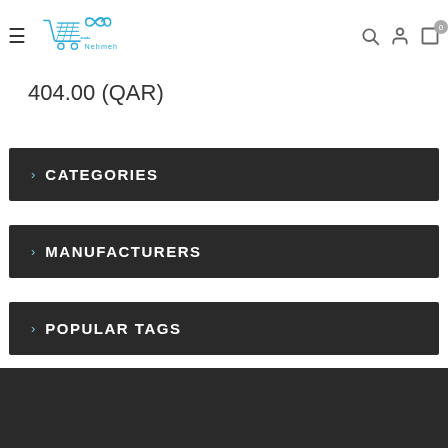[Figure (logo): Nehmeh e-commerce shopping cart logo with Arabic text and cart icon in blue/cyan color]
404.00 (QAR)
CATEGORIES
MANUFACTURERS
POPULAR TAGS